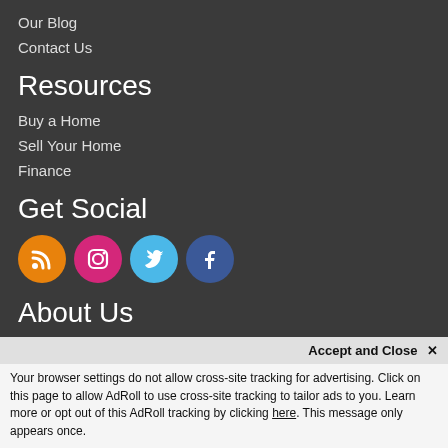Our Blog
Contact Us
Resources
Buy a Home
Sell Your Home
Finance
Get Social
[Figure (infographic): Four social media icons in circles: RSS (orange), Instagram (pink), Twitter (blue), Facebook (dark blue)]
About Us
RE/MAX Nexus is Metro Detroit's most innovative real estate team.
RE/MAX Nexus
Accept and Close ✕
Your browser settings do not allow cross-site tracking for advertising. Click on this page to allow AdRoll to use cross-site tracking to tailor ads to you. Learn more or opt out of this AdRoll tracking by clicking here. This message only appears once.